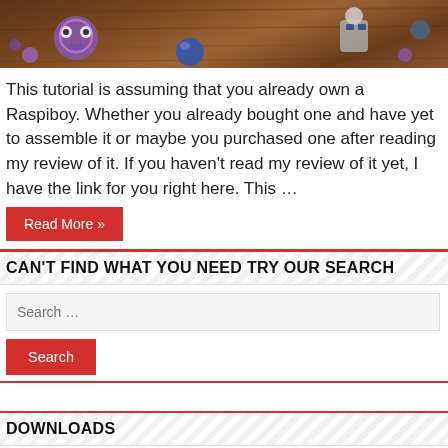[Figure (photo): Top strip photo showing gaming figurines/accessories on a wooden surface — purple, blue and silver toy characters visible]
This tutorial is assuming that you already own a Raspiboy. Whether you already bought one and have yet to assemble it or maybe you purchased one after reading my review of it. If you haven't read my review of it yet, I have the link for you right here. This …
Read More »
CAN'T FIND WHAT YOU NEED TRY OUR SEARCH
Search …
Search
DOWNLOADS
HENkaku Downloads
HENkaku: Emulators for the PSVita & PSTV